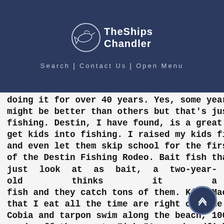[Figure (logo): The Ships Chandler logo with a circular emblem showing a fish/marlin and anchor, with text 'TheShips Chandler' in white on dark navy background]
Search | Contact Us | Open Menu
doing it for over 40 years. Yes, some years might be better than others but that's just fishing. Destin, I have found, is a great place to get kids into fishing. I raised my kids fishing and even let them skip school for the first day of the Destin Fishing Rodeo. Bait fish that we just look at as bait, a two-year-old thinks it a fish and they catch tons of them. King Mackerel that I eat all the time are right out the pass. Cobia and tarpon swim along the beach, 100 yards off the coast. Fish 50 pound redfish on Crab Island in the fall after all the boaters leave. Giant marlin and tuna are at the oil and are waiting to be caught year around. What